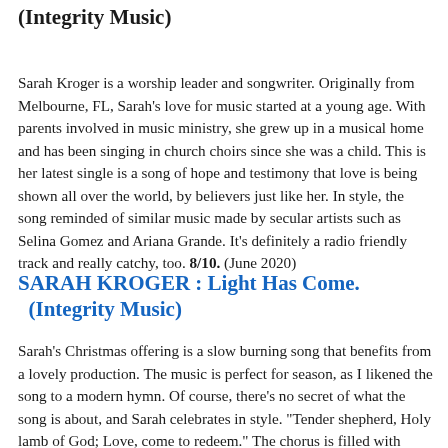(Integrity Music)
Sarah Kroger is a worship leader and songwriter. Originally from Melbourne, FL, Sarah’s love for music started at a young age. With parents involved in music ministry, she grew up in a musical home and has been singing in church choirs since she was a child. This is her latest single is a song of hope and testimony that love is being shown all over the world, by believers just like her. In style, the song reminded of similar music made by secular artists such as Selina Gomez and Ariana Grande. It’s definitely a radio friendly track and really catchy, too. 8/10. (June 2020)
SARAH KROGER : Light Has Come.
  (Integrity Music)
Sarah’s Christmas offering is a slow burning song that benefits from a lovely production. The music is perfect for season, as I likened the song to a modern hymn. Of course, there’s no secret of what the song is about, and Sarah celebrates in style. “Tender shepherd, Holy lamb of God; Love, come to redeem.” The chorus is filled with voices singing “Hallelujah, Gloria,” and it sounds wonderful. You’ll make a perfect Christmas anthem. 9/10.